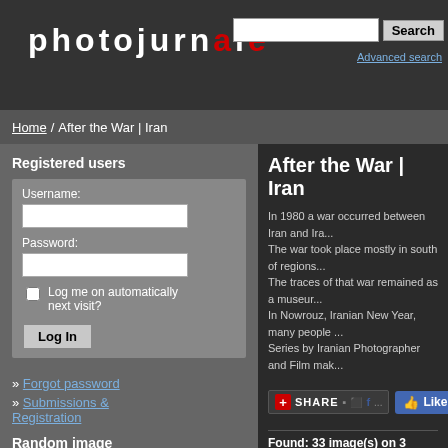[Figure (screenshot): photojournale website logo in white bold text with red 'e', on dark gray header background]
Search
Advanced search
Home / After the War | Iran
Registered users
Username:
Password:
Log me on automatically next visit?
Log In
» Forgot password
» Submissions & Registration
Random image
[Figure (photo): Black and white photo showing hands holding something, close-up, dark background]
After the War | Iran
In 1980 a war occurred between Iran and Ira... The war took place mostly in south of regions... The traces of that war remained as a museur... In Nowrouz, Iranian New Year, many people ... Series by Iranian Photographer and Film mak...
[Figure (screenshot): Share button with red plus icon and social media icons]
[Figure (screenshot): Facebook Like button showing 3.1K likes, and 'Up t...' text]
Found: 33 image(s) on 3 page(s). Displaye...
[Figure (photo): Black and white photo of people gathered outdoors, crowd scene]